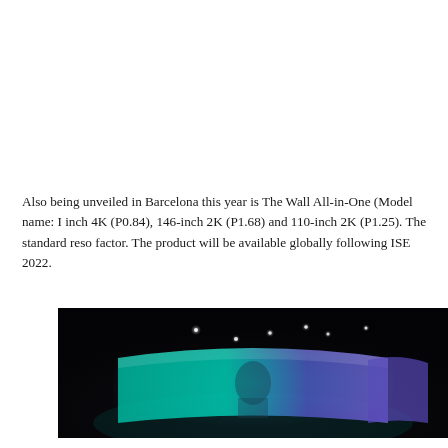Also being unveiled in Barcelona this year is The Wall All-in-One (Model name: I inch 4K (P0.84), 146-inch 2K (P1.68) and 110-inch 2K (P1.25). The standard reso factor. The product will be available globally following ISE 2022.
[Figure (photo): Dark event/conference hall photo showing a stage presentation with a large curved display screen showing content, a presenter visible, and scattered ceiling spotlights visible against the dark background.]